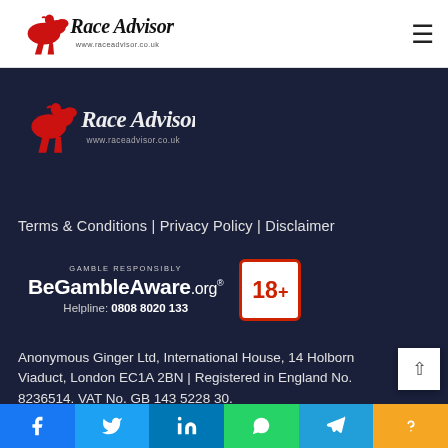Race Advisor — www.raceadvisor.co.uk
[Figure (logo): Race Advisor logo (white background header) — red horse and rider with cursive Race Advisor text and www.raceadvisor.co.uk]
[Figure (logo): Race Advisor logo (dark footer) — red horse and rider with cursive Race Advisor text and www.raceadvisor.co.uk]
Terms & Conditions | Privacy Policy | Disclaimer
[Figure (logo): BeGambleAware.org — GAMBLE RESPONSIBLY banner with 18+ badge. Helpline: 0808 8020 133]
Anonymous Ginger Ltd, International House, 14 Holborn Viaduct, London EC1A 2BN | Registered in England No. 8236514. VAT No. GB 143 5228 30.
Facebook | Twitter | LinkedIn | WhatsApp | Telegram | Help